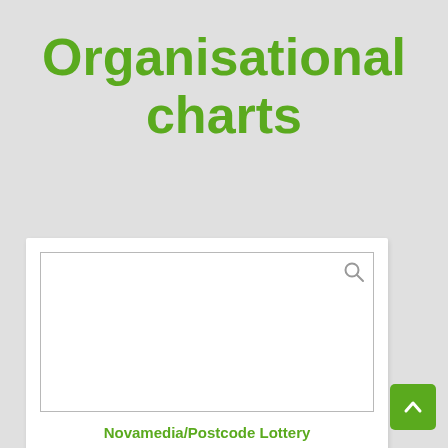Organisational charts
[Figure (screenshot): A white card containing an empty bordered box with a magnifier icon in the top-right corner, representing a preview thumbnail of an organisational chart document.]
Novamedia/Postcode Lottery Group and its licensees